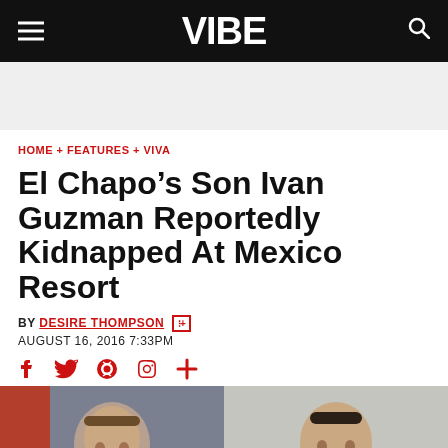VIBE
HOME + FEATURES + VIVA
El Chapo’s Son Ivan Guzman Reportedly Kidnapped At Mexico Resort
BY DESIRE THOMPSON
AUGUST 16, 2016 7:33PM
[Figure (photo): Two photos side by side: left shows a young man with brown hair, right shows El Chapo Joaquin Guzman.]